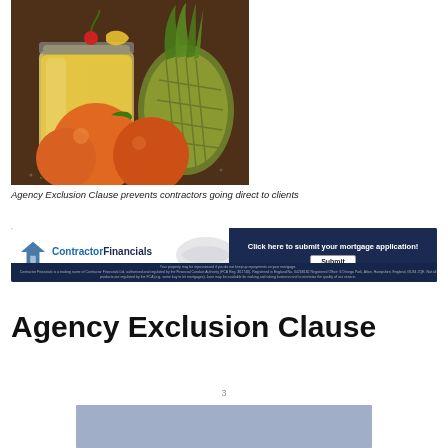[Figure (photo): A fruit smoothie in a mason jar with a cherry on top, surrounded by oranges/tangerines and a pineapple on a dark wooden surface]
Agency Exclusion Clause prevents contractors going direct to clients
[Figure (illustration): ContractorFinancials banner advertisement - The Home of Financial Advice for Contractors - Click here to submit your mortgage application! Submit button. Disclaimer text about property repossession.]
Agency Exclusion Clause
3
[Figure (other): Partially visible blue-grey rectangle at the bottom of the page]